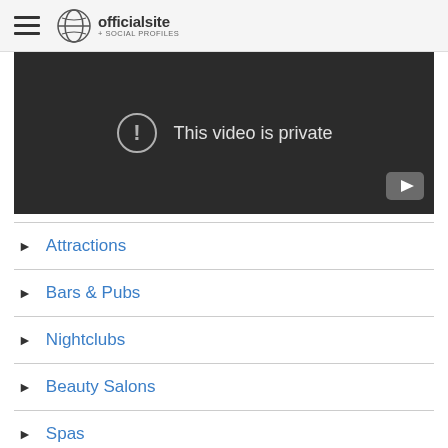officialsite + SOCIAL PROFILES
[Figure (screenshot): Video player showing 'This video is private' message with exclamation icon and YouTube play button in bottom right corner, dark background.]
Attractions
Bars & Pubs
Nightclubs
Beauty Salons
Spas
Car Dealers